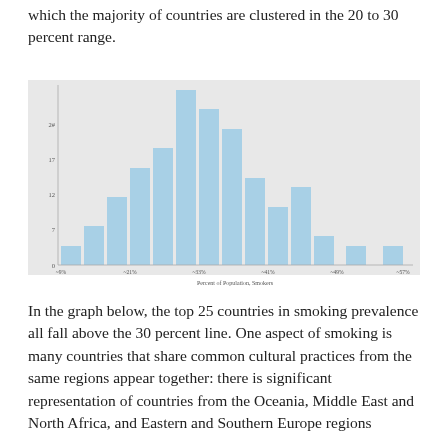which the majority of countries are clustered in the 20 to 30 percent range.
[Figure (histogram): ]
In the graph below, the top 25 countries in smoking prevalence all fall above the 30 percent line. One aspect of smoking is many countries that share common cultural practices from the same regions appear together: there is significant representation of countries from the Oceania, Middle East and North Africa, and Eastern and Southern Europe regions